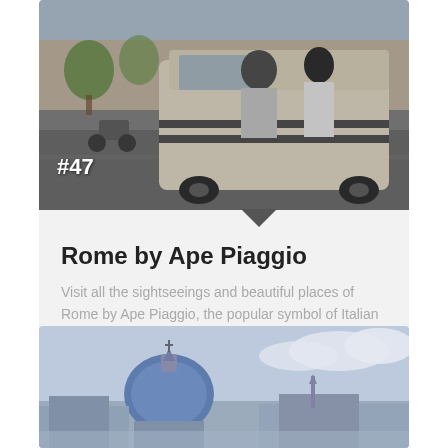[Figure (photo): Ape Piaggio three-wheeled vehicle in Rome street scene with passengers, marked #47]
Rome by Ape Piaggio
Visit all the sightseeings and beautiful places of Rome by Ape Piaggio, the popular symbol of Italian style known and famous all over the world.
€100+ /person ♥ 3
[Figure (photo): Panoramic view of Rome with blue-domed basilica and city skyline against pale blue sky]